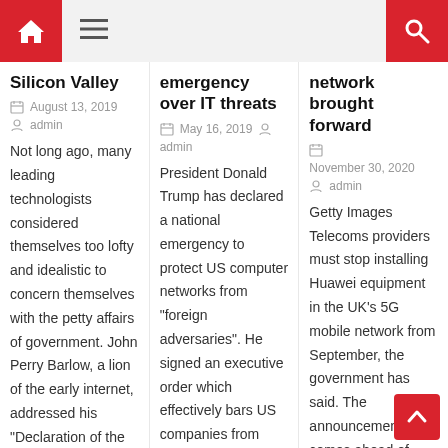Navigation bar with home icon, hamburger menu, and search icon
Silicon Valley
August 13, 2019  admin
Not long ago, many leading technologists considered themselves too lofty and idealistic to concern themselves with the petty affairs of government. John Perry Barlow, a lion of the early internet, addressed his "Declaration of the Independence of
emergency over IT threats
May 16, 2019  admin
President Donald Trump has declared a national emergency to protect US computer networks from "foreign adversaries". He signed an executive order which effectively bars US companies from using foreign telecoms believed to pose
network brought forward
November 30, 2020  admin
Getty Images Telecoms providers must stop installing Huawei equipment in the UK's 5G mobile network from September, the government has said. The announcement comes ahead of new law being unveiled on